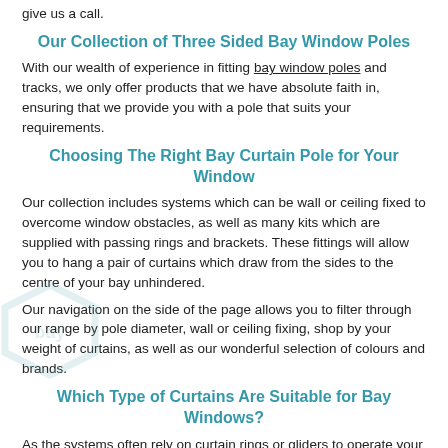give us a call.
Our Collection of Three Sided Bay Window Poles
With our wealth of experience in fitting bay window poles and tracks, we only offer products that we have absolute faith in, ensuring that we provide you with a pole that suits your requirements.
Choosing The Right Bay Curtain Pole for Your Window
Our collection includes systems which can be wall or ceiling fixed to overcome window obstacles, as well as many kits which are supplied with passing rings and brackets. These fittings will allow you to hang a pair of curtains which draw from the sides to the centre of your bay unhindered.
Our navigation on the side of the page allows you to filter through our range by pole diameter, wall or ceiling fixing, shop by your weight of curtains, as well as our wonderful selection of colours and brands.
Which Type of Curtains Are Suitable for Bay Windows?
As the systems often rely on curtain rings or gliders to operate your curtains, passing ring and passing bracket systems and bay curtain poles with gliders will only function as intended with curtains which have a curtain hook attached, making them suitable for all types of curtain headings except eyelets and tab tops curtains.
If you would like to fit eyelet or tab top curtains in your bay, you will need to hang a curtain between each support bracket which means you will need a